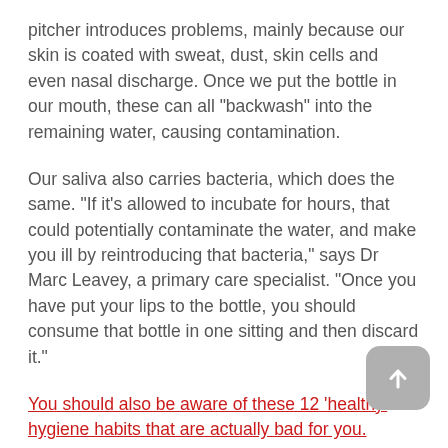pitcher introduces problems, mainly because our skin is coated with sweat, dust, skin cells and even nasal discharge. Once we put the bottle in our mouth, these can all "backwash" into the remaining water, causing contamination.
Our saliva also carries bacteria, which does the same. "If it's allowed to incubate for hours, that could potentially contaminate the water, and make you ill by reintroducing that bacteria," says Dr Marc Leavey, a primary care specialist. "Once you have put your lips to the bottle, you should consume that bottle in one sitting and then discard it."
You should also be aware of these 12 'healthy' hygiene habits that are actually bad for you.